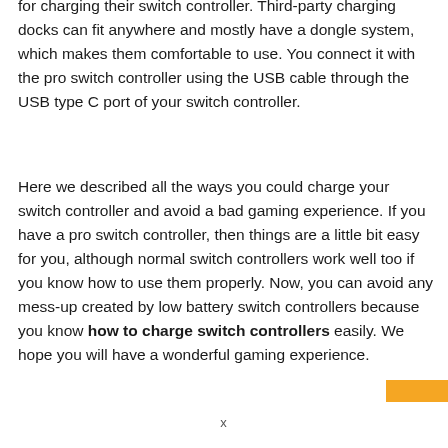for charging their switch controller. Third-party charging docks can fit anywhere and mostly have a dongle system, which makes them comfortable to use. You connect it with the pro switch controller using the USB cable through the USB type C port of your switch controller.
Here we described all the ways you could charge your switch controller and avoid a bad gaming experience. If you have a pro switch controller, then things are a little bit easy for you, although normal switch controllers work well too if you know how to use them properly. Now, you can avoid any mess-up created by low battery switch controllers because you know how to charge switch controllers easily. We hope you will have a wonderful gaming experience.